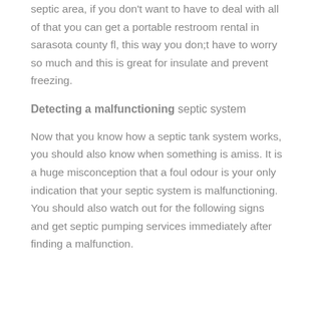septic area, if you don't want to have to deal with all of that you can get a portable restroom rental in sarasota county fl, this way you don;t have to worry so much and this is great for insulate and prevent freezing.
Detecting a malfunctioning septic system
Now that you know how a septic tank system works, you should also know when something is amiss. It is a huge misconception that a foul odour is your only indication that your septic system is malfunctioning. You should also watch out for the following signs and get septic pumping services immediately after finding a malfunction.